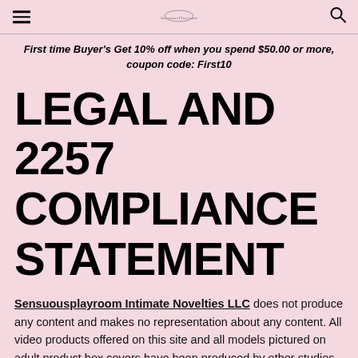≡  [logo]  🔍
First time Buyer's Get 10% off when you spend $50.00 or more, coupon code: First10
LEGAL AND 2257 COMPLIANCE STATEMENT
Sensuousplayroom Intimate Novelties LLC does not produce any content and makes no representation about any content. All video products offered on this site and all models pictured on adult product box covers have been produced by other studios or